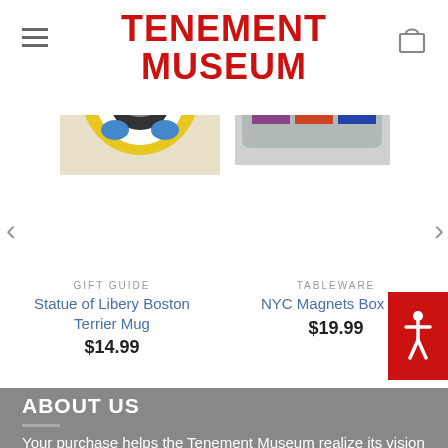TENEMENT MUSEUM
[Figure (photo): Product image of Statue of Liberty Boston Terrier Mug - a yellow mug with a Boston Terrier dog illustration]
GIFT GUIDE
Statue of Libery Boston Terrier Mug
$14.99
[Figure (photo): Product image of NYC Magnets Box Set - a tin box with colorful NYC-themed magnets]
TABLEWARE
NYC Magnets Box Set
$19.99
ABOUT US
Your purchase helps the Tenement Museum realize its vision of a society that embraces and values the fundamental role of immigration in the evolving American identity.